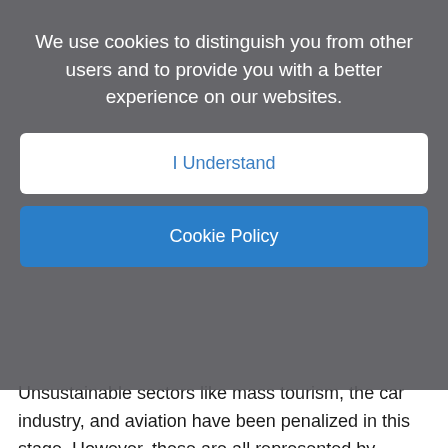We use cookies to distinguish you from other users and to provide you with a better experience on our websites.
I Understand
Cookie Policy
Unsustainable sectors like mass tourism, the car industry, and aviation have been penalized in this stage. However, these are all represented by powerful lobbies trying to monopolize reconstruction funds to once again dominate the world as they did before the crisis – see Trump's help for the aviation industry and his unwillingness to aid ordinary Americans.
While economic functions need to be boosted, it would be fatal, after so much suffering, to return to the previous lifestyles that we have abandoned for the short time span of a lockdown. The economy will be